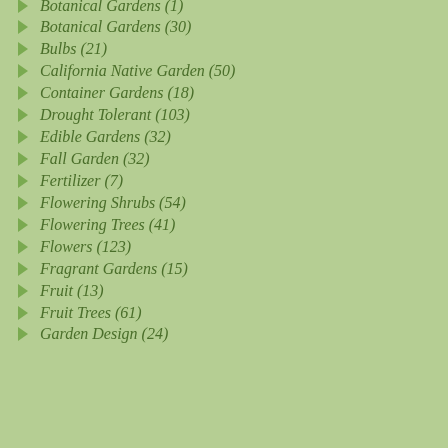Botanical Gardens (1) [partial, top]
Botanical Gardens (30)
Bulbs (21)
California Native Garden (50)
Container Gardens (18)
Drought Tolerant (103)
Edible Gardens (32)
Fall Garden (32)
Fertilizer (7)
Flowering Shrubs (54)
Flowering Trees (41)
Flowers (123)
Fragrant Gardens (15)
Fruit (13)
Fruit Trees (61)
Garden Design (24) [partial, bottom]